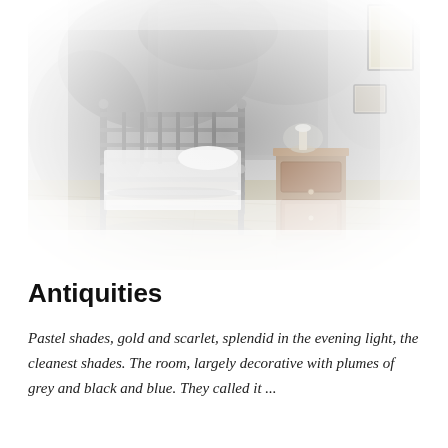[Figure (illustration): A grayscale watercolor-style illustration of an old-fashioned bedroom. A metal-frame single bed with white linen is centered, with a wooden bedside cabinet with a lamp on the right. The walls show large dark patches and framed pictures hang on the right wall. The floor is wooden planks. The scene fades to white at the edges giving a dreamlike quality.]
Antiquities
Pastel shades, gold and scarlet, splendid in the evening light, the cleanest shades. The room, largely decorative with plumes of grey and black and blue. They called it ...